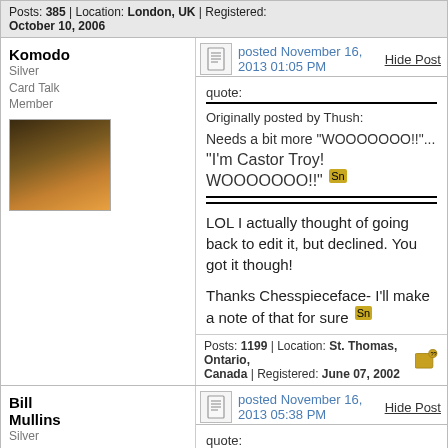Posts: 385 | Location: London, UK | Registered: October 10, 2006
Komodo Silver Card Talk Member
posted November 16, 2013 01:05 PM
Hide Post
quote:
Originally posted by Thush:
Needs a bit more "WOOOOOOO!!"...
"I'm Castor Troy! WOOOOOOO!!" Sn
LOL I actually thought of going back to edit it, but declined. You got it though!
Thanks Chesspieceface- I'll make a note of that for sure Sn
Posts: 1199 | Location: St. Thomas, Ontario, Canada | Registered: June 07, 2002
Bill Mullins Silver Card Talk Member
posted November 16, 2013 05:38 PM
Hide Post
quote: